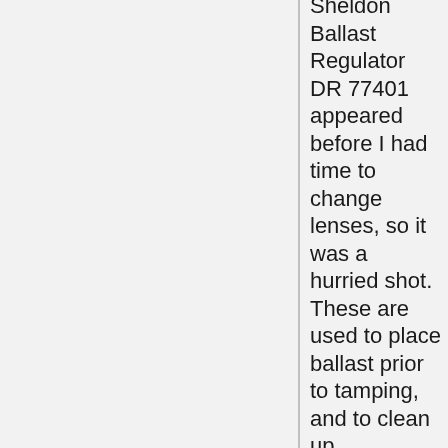Sheldon Ballast Regulator DR 77401 appeared before I had time to change lenses, so it was a hurried shot. These are used to place ballast prior to tamping, and to clean up afterwards, and the mechanisms are relatively simple in comparison with a Ballast Cleaner